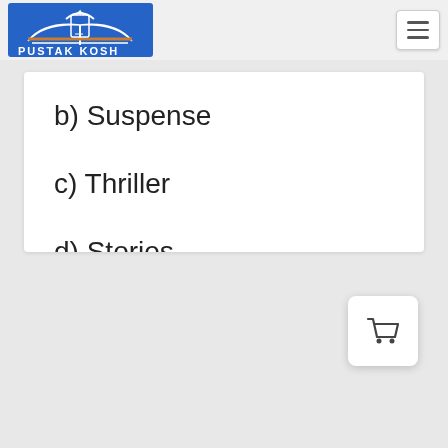[Figure (logo): Pustak Kosh logo — blue background with open book graphic and text PUSTAK KOSH]
b) Suspense
c) Thriller
d) Stories
e) Romance
f) General